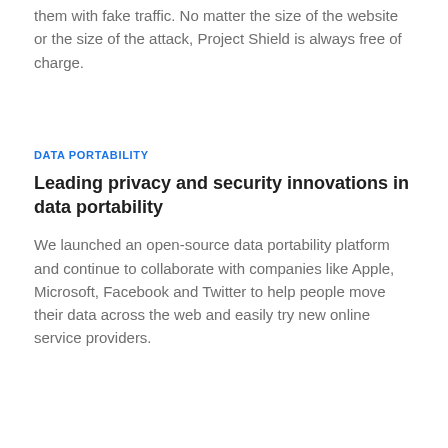them with fake traffic. No matter the size of the website or the size of the attack, Project Shield is always free of charge.
DATA PORTABILITY
Leading privacy and security innovations in data portability
We launched an open-source data portability platform and continue to collaborate with companies like Apple, Microsoft, Facebook and Twitter to help people move their data across the web and easily try new online service providers.